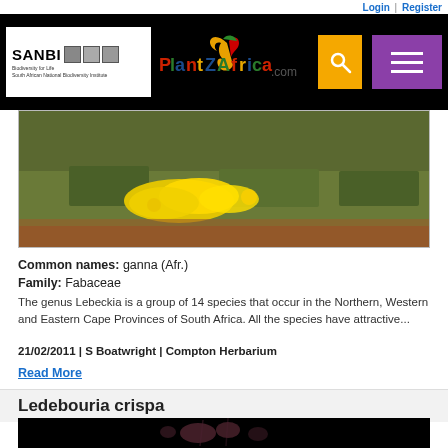Login | Register
[Figure (logo): SANBI and PlantZAfrica.com website header with logos, search button and menu button on black background]
[Figure (photo): Photograph of yellow flowering Lebeckia plant in natural habitat with green grass and reddish-brown soil]
Common names: ganna (Afr.)
Family: Fabaceae
The genus Lebeckia is a group of 14 species that occur in the Northern, Western and Eastern Cape Provinces of South Africa. All the species have attractive...
21/02/2011 | S Boatwright | Compton Herbarium
Read More
Ledebouria crispa
[Figure (photo): Photograph of Ledebouria crispa plant with pink/mauve flowers against black background]